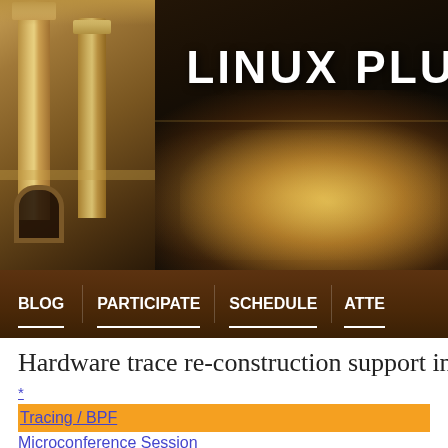[Figure (photo): Linux Plumbers Conference website header banner showing a night cityscape (Los Angeles city lights) with a foreground classical building (Griffith Observatory), and bold white text reading 'LINUX PLU' (partially cropped). Below is a dark brown navigation bar with menu items: BLOG, PARTICIPATE, SCHEDULE, ATTE (cropped).]
Hardware trace re-construction support in
*
Tracing / BPF
Microconference Session
One Line Summary
Kernel-assisted trace re-construction for JITed code